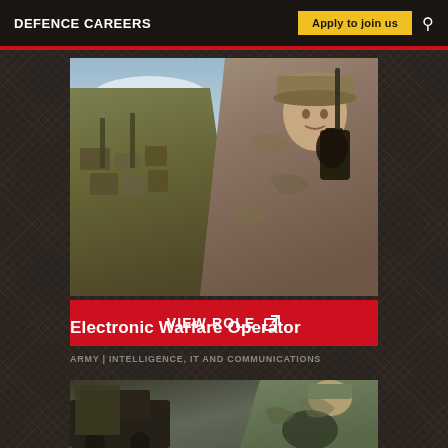DEFENCE CAREERS | Apply to join us
[Figure (photo): Two soldiers in camouflage gear, one holding a radio antenna/handset, outdoors with a cloudy sky background]
VIEW ROLE
Electronic Warfare Operator
ARMY | INTELLIGENCE, IT AND COMMUNICATIONS
[Figure (photo): Soldiers in camouflage uniforms near a military vehicle]